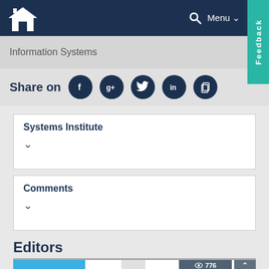Information Systems
Share on
Systems Institute
Comments
Editors
[Figure (screenshot): Bottom partial view of editors section with blue stylized letters and gray shape, view count badge showing 776 views]
776